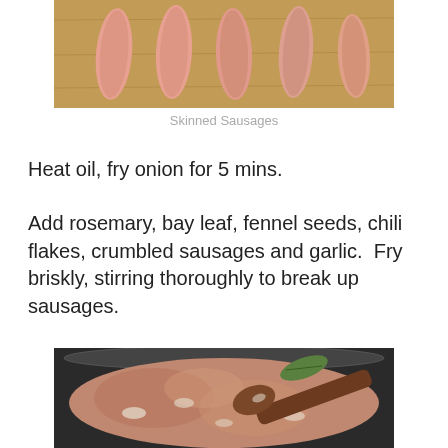[Figure (photo): Raw skinned sausages laid out on a wooden cutting board, showing pink meat without casings]
Skinned Sausages
Heat oil, fry onion for 5 mins.
Add rosemary, bay leaf, fennel seeds, chili flakes, crumbled sausages and garlic.  Fry briskly, stirring thoroughly to break up sausages.
[Figure (photo): Crumbled sausage meat frying in a pan with onions and herbs, being stirred with a wooden spoon]